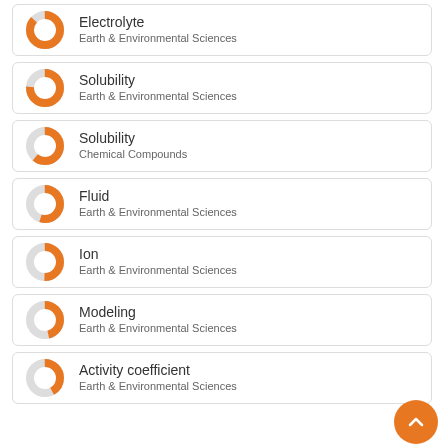Electrolyte — Earth & Environmental Sciences
Solubility — Earth & Environmental Sciences
Solubility — Chemical Compounds
Fluid — Earth & Environmental Sciences
Ion — Earth & Environmental Sciences
Modeling — Earth & Environmental Sciences
Activity coefficient — Earth & Environmental Sciences